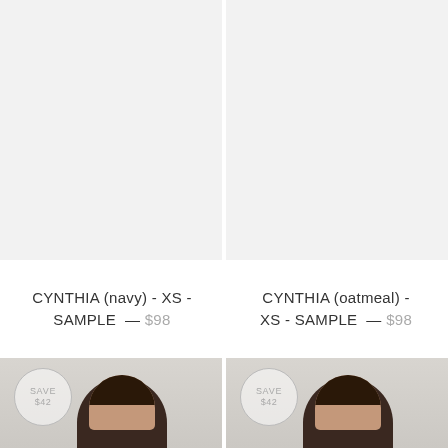[Figure (photo): Product photo placeholder for CYNTHIA (navy) - XS - SAMPLE, light gray background]
[Figure (photo): Product photo placeholder for CYNTHIA (oatmeal) - XS - SAMPLE, light gray background]
CYNTHIA (navy) - XS - SAMPLE — $98
CYNTHIA (oatmeal) - XS - SAMPLE — $98
[Figure (photo): Product photo with model wearing CYNTHIA, SAVE $42 badge visible, dark-haired female model]
[Figure (photo): Product photo with model wearing CYNTHIA, SAVE $42 badge visible, dark-haired female model]